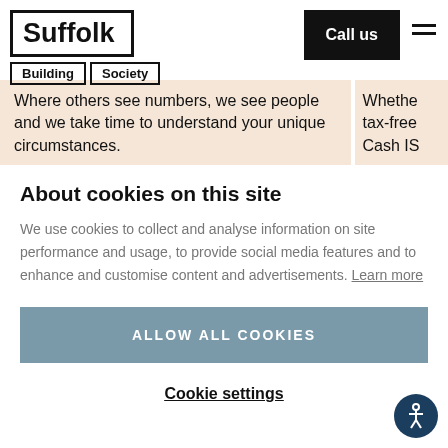[Figure (logo): Suffolk Building Society logo with bordered text boxes]
[Figure (other): Call us button (black background, white text) and hamburger menu icon]
Where others see numbers, we see people and we take time to understand your unique circumstances.
Whether tax-free Cash IS
About cookies on this site
We use cookies to collect and analyse information on site performance and usage, to provide social media features and to enhance and customise content and advertisements. Learn more
ALLOW ALL COOKIES
Cookie settings